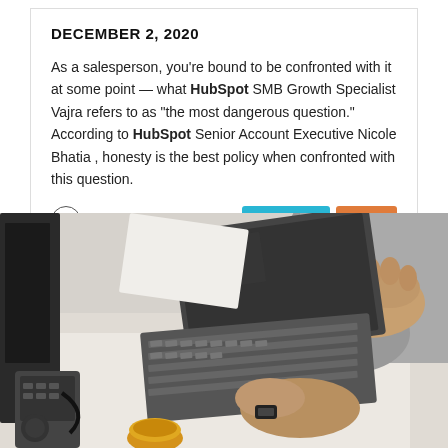DECEMBER 2, 2020
As a salesperson, you're bound to be confronted with it at some point — what HubSpot SMB Growth Specialist Vajra refers to as "the most dangerous question." According to HubSpot Senior Account Executive Nicole Bhatia , honesty is the best policy when confronted with this question.
[Figure (photo): Overhead view of a person typing on a laptop at a white desk, with a telephone, coffee cup, and papers visible.]